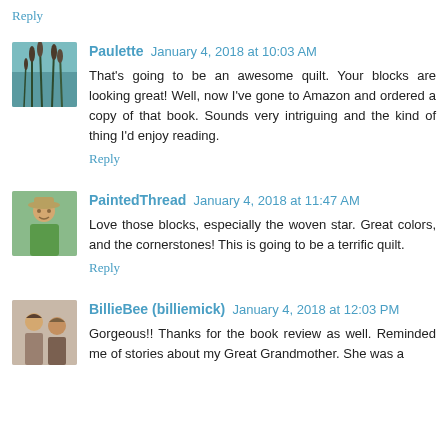Reply
Paulette   January 4, 2018 at 10:03 AM
That's going to be an awesome quilt. Your blocks are looking great! Well, now I've gone to Amazon and ordered a copy of that book. Sounds very intriguing and the kind of thing I'd enjoy reading.
Reply
PaintedThread   January 4, 2018 at 11:47 AM
Love those blocks, especially the woven star. Great colors, and the cornerstones! This is going to be a terrific quilt.
Reply
BillieBee (billiemick)   January 4, 2018 at 12:03 PM
Gorgeous!! Thanks for the book review as well. Reminded me of stories about my Great Grandmother. She was a